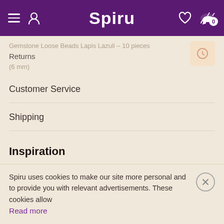Spiru
Gemstone Loose Beads Lapis Lazuli – 10 pieces
Returns
(6 mm)
Customer Service
Shipping
Inspiration
Sale
Spiru uses cookies to make our site more personal and to provide you with relevant advertisements. These cookies allow Read more